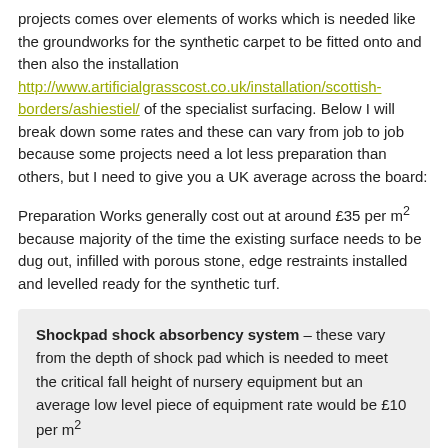projects comes over elements of works which is needed like the groundworks for the synthetic carpet to be fitted onto and then also the installation http://www.artificialgrasscost.co.uk/installation/scottish-borders/ashiestiel/ of the specialist surfacing. Below I will break down some rates and these can vary from job to job because some projects need a lot less preparation than others, but I need to give you a UK average across the board:
Preparation Works generally cost out at around £35 per m² because majority of the time the existing surface needs to be dug out, infilled with porous stone, edge restraints installed and levelled ready for the synthetic turf.
Shockpad shock absorbency system – these vary from the depth of shock pad which is needed to meet the critical fall height of nursery equipment but an average low level piece of equipment rate would be £10 per m²
Synthetic Grass Surfacing – average rates for synthetic